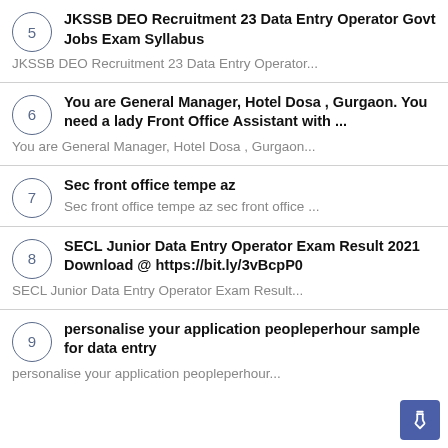5 JKSSB DEO Recruitment 23 Data Entry Operator Govt Jobs Exam Syllabus
JKSSB DEO Recruitment 23 Data Entry Operator...
6 You are General Manager, Hotel Dosa , Gurgaon. You need a lady Front Office Assistant with ...
You are General Manager, Hotel Dosa , Gurgaon...
7 Sec front office tempe az
Sec front office tempe az sec front office ...
8 SECL Junior Data Entry Operator Exam Result 2021 Download @ https://bit.ly/3vBcpP0
SECL Junior Data Entry Operator Exam Result...
9 personalise your application peopleperhour sample for data entry
personalise your application peopleperhour...